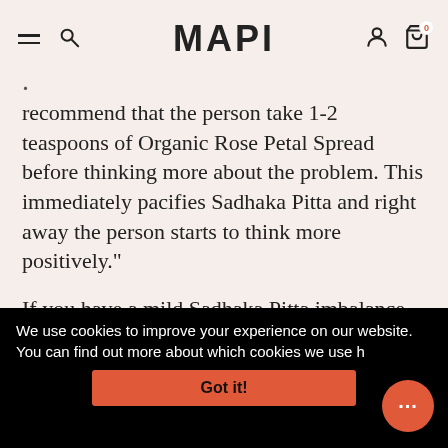MAPI
recommend that the person take 1-2 teaspoons of Organic Rose Petal Spread before thinking more about the problem. This immediately pacifies Sadhaka Pitta and right away the person starts to think more positively."
If you have a mild Sadhaka Pitta imbalance, or just to cool your body in summer, you can carry rose oil or a blend such as Pitta Aroma Oil in an aroma locket. Or you could
We use cookies to improve your experience on our website. You can find out more about which cookies we use h
Got it!